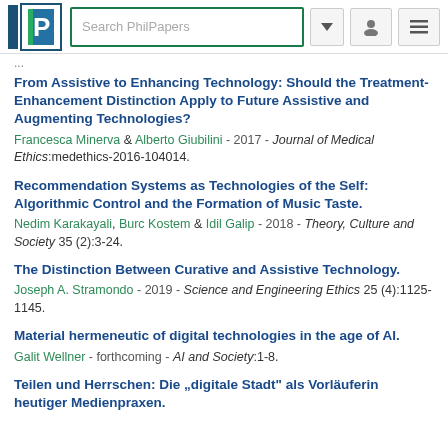Search PhilPapers
From Assistive to Enhancing Technology: Should the Treatment-Enhancement Distinction Apply to Future Assistive and Augmenting Technologies? Francesca Minerva & Alberto Giubilini - 2017 - Journal of Medical Ethics:medethics-2016-104014.
Recommendation Systems as Technologies of the Self: Algorithmic Control and the Formation of Music Taste. Nedim Karakayali, Burc Kostem & Idil Galip - 2018 - Theory, Culture and Society 35 (2):3-24.
The Distinction Between Curative and Assistive Technology. Joseph A. Stramondo - 2019 - Science and Engineering Ethics 25 (4):1125-1145.
Material hermeneutic of digital technologies in the age of AI. Galit Wellner - forthcoming - AI and Society:1-8.
Teilen und Herrschen: Die „digitale Stadt“ als Vorläuferin heutiger Medienpraxen.